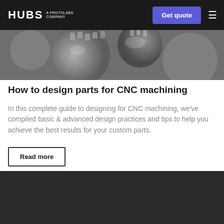HUBS A PROTOLABS COMPANY | Get quote
[Figure (photo): Black and white close-up photo of CNC machining equipment/gears]
How to design parts for CNC machining
In this complete guide to designing for CNC machining, we've compiled basic & advanced design practices and tips to help you achieve the best results for your custom parts.
Read more